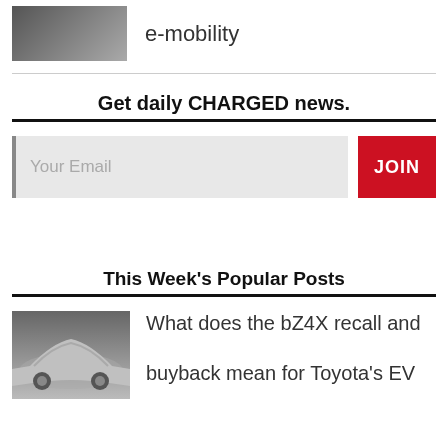[Figure (photo): Dark colored electric/concept car, front-angled view, top-left image thumbnail]
e-mobility
Get daily CHARGED news.
Your Email
JOIN
This Week's Popular Posts
[Figure (photo): Silver/gray Toyota bZ4X electric car, side/front view]
What does the bZ4X recall and buyback mean for Toyota's EV